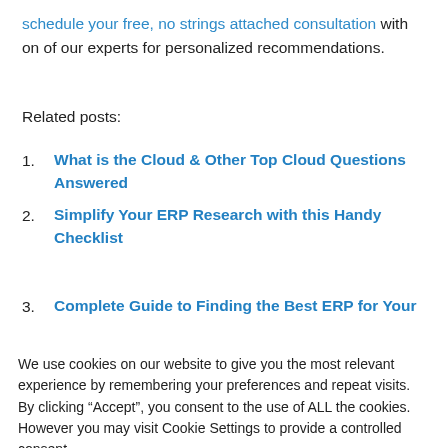schedule your free, no strings attached consultation with on of our experts for personalized recommendations.
Related posts:
What is the Cloud & Other Top Cloud Questions Answered
Simplify Your ERP Research with this Handy Checklist
Complete Guide to Finding the Best ERP for Your...
We use cookies on our website to give you the most relevant experience by remembering your preferences and repeat visits. By clicking “Accept”, you consent to the use of ALL the cookies. However you may visit Cookie Settings to provide a controlled consent.
o a Smart Buying Decision
Choosing Cloud ERP Platforms